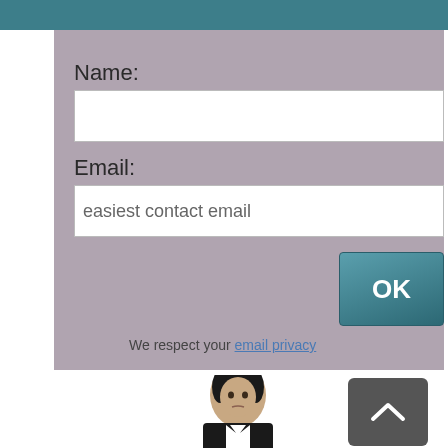Name:
Email:
easiest contact email
OK
We respect your email privacy
[Figure (photo): Woman in business attire looking at camera]
[Figure (other): Back to top arrow button]